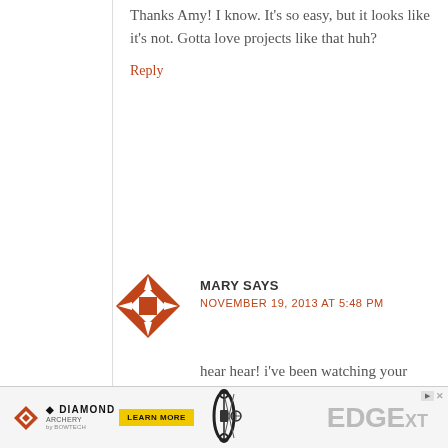Thanks Amy! I know. It's so easy, but it looks like it's not. Gotta love projects like that huh?
Reply
[Figure (logo): Red decorative diamond-shaped avatar/logo icon with compass arrow points and dot pattern]
MARY SAYS
NOVEMBER 19, 2013 AT 5:48 PM
hear hear! i've been watching your crochet series, and this project is calling my name!
Reply
[Figure (infographic): Diamond Archery EDGE XT advertisement banner with yellow Learn More button and bow image]